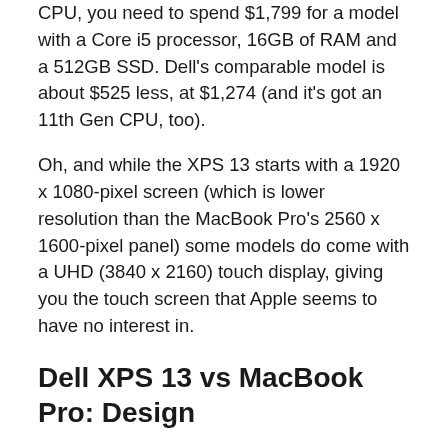CPU, you need to spend $1,799 for a model with a Core i5 processor, 16GB of RAM and a 512GB SSD. Dell's comparable model is about $525 less, at $1,274 (and it's got an 11th Gen CPU, too).
Oh, and while the XPS 13 starts with a 1920 x 1080-pixel screen (which is lower resolution than the MacBook Pro's 2560 x 1600-pixel panel) some models do come with a UHD (3840 x 2160) touch display, giving you the touch screen that Apple seems to have no interest in.
Dell XPS 13 vs MacBook Pro: Design
While Apple's been slimming down the MacBook Pro, it's still more or less got the same design that it's had for a while. The XPS 13, though, is